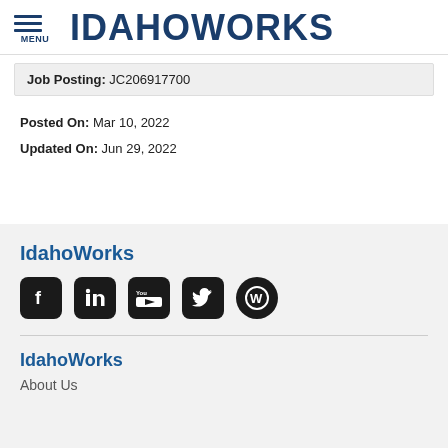IDAHOWORKS
Job Posting: JC206917700
Posted On: Mar 10, 2022
Updated On: Jun 29, 2022
IdahoWorks
[Figure (infographic): Social media icons: Facebook, LinkedIn, YouTube, Twitter, WordPress]
IdahoWorks
About Us